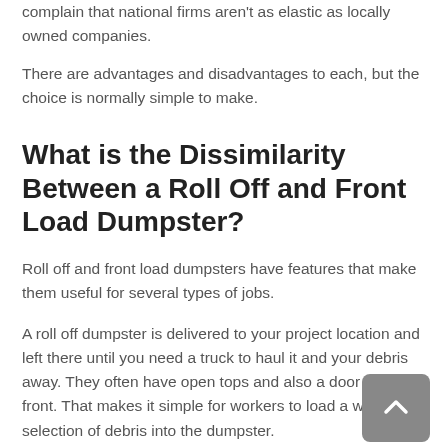complain that national firms aren't as elastic as locally owned companies.
There are advantages and disadvantages to each, but the choice is normally simple to make.
What is the Dissimilarity Between a Roll Off and Front Load Dumpster?
Roll off and front load dumpsters have features that make them useful for several types of jobs.
A roll off dumpster is delivered to your project location and left there until you need a truck to haul it and your debris away. They often have open tops and also a door on the front. That makes it simple for workers to load a wide selection of debris into the dumpster.
A front load dumpster has mechanical arms that that lift